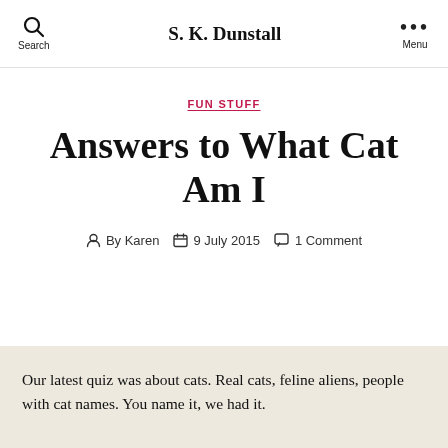S. K. Dunstall
FUN STUFF
Answers to What Cat Am I
By Karen  9 July 2015  1 Comment
Our latest quiz was about cats. Real cats, feline aliens, people with cat names. You name it, we had it.